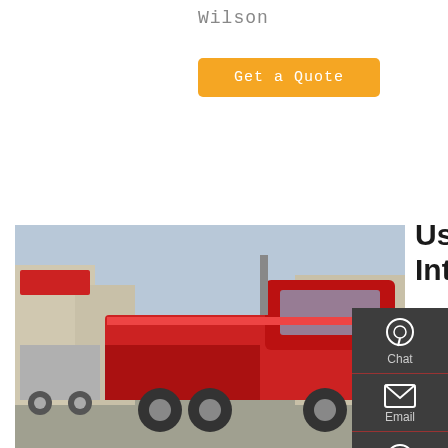Wilson
Get a Quote
[Figure (photo): A red heavy-duty truck (tractor unit) parked in a lot with other trucks and buildings in the background.]
Used Workstar For Sale - Used International Grand King
Used International,grand King Workstar Dump Trucks For Sale: 1 Dump Trucks - Find Used International,grand King Workstar Dump Trucks at Commercial Truck Trader.